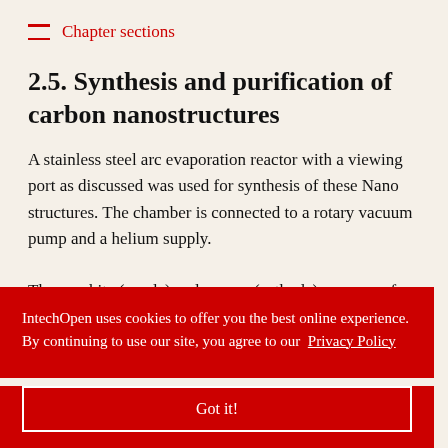Chapter sections
2.5. Synthesis and purification of carbon nanostructures
A stainless steel arc evaporation reactor with a viewing port as discussed was used for synthesis of these Nano structures. The chamber is connected to a rotary vacuum pump and a helium supply.
The graphite (anode) and copper (cathode) ... of the ... tant ... no structures ... for cathode, ... e can be adjusted from outside the chamber so that a constant